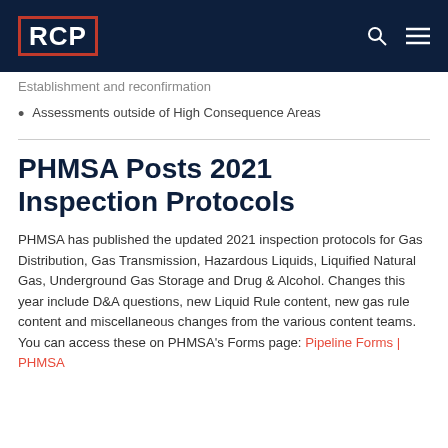RCP
Establishment and reconfirmation
Assessments outside of High Consequence Areas
PHMSA Posts 2021 Inspection Protocols
PHMSA has published the updated 2021 inspection protocols for Gas Distribution, Gas Transmission, Hazardous Liquids, Liquified Natural Gas, Underground Gas Storage and Drug & Alcohol. Changes this year include D&A questions, new Liquid Rule content, new gas rule content and miscellaneous changes from the various content teams. You can access these on PHMSA's Forms page: Pipeline Forms | PHMSA